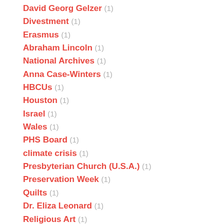David Georg Gelzer (1)
Divestment (1)
Erasmus (1)
Abraham Lincoln (1)
National Archives (1)
Anna Case-Winters (1)
HBCUs (1)
Houston (1)
Israel (1)
Wales (1)
PHS Board (1)
climate crisis (1)
Presbyterian Church (U.S.A.) (1)
Preservation Week (1)
Quilts (1)
Dr. Eliza Leonard (1)
Religious Art (1)
Mississippi (1)
Fred Rogers (1)